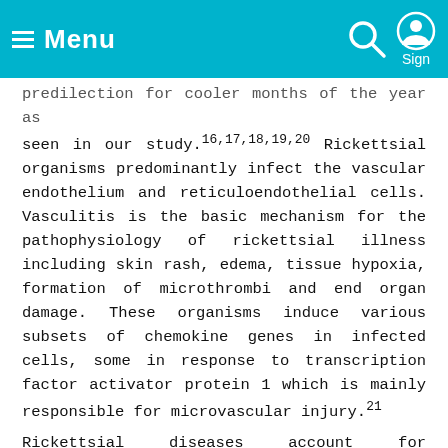≡ Menu  [Search icon] [Sign icon]
predilection for cooler months of the year as seen in our study.16,17,18,19,20 Rickettsial organisms predominantly infect the vascular endothelium and reticuloendothelial cells. Vasculitis is the basic mechanism for the pathophysiology of rickettsial illness including skin rash, edema, tissue hypoxia, formation of microthrombi and end organ damage. These organisms induce various subsets of chemokine genes in infected cells, some in response to transcription factor activator protein 1 which is mainly responsible for microvascular injury.21
Rickettsial diseases account for significant cases of tropical febrile illnesses. Most of the cases initially present with fever and non-specific signs and symptoms such as vomiting, myalgia,